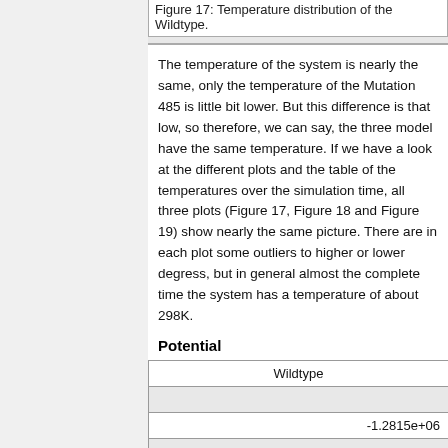Figure 17: Temperature distribution of the Wildtype.
The temperature of the system is nearly the same, only the temperature of the Mutation 485 is little bit lower. But this difference is that low, so therefore, we can say, the three model have the same temperature. If we have a look at the different plots and the table of the temperatures over the simulation time, all three plots (Figure 17, Figure 18 and Figure 19) show nearly the same picture. There are in each plot some outliers to higher or lower degress, but in general almost the complete time the system has a temperature of about 298K.
Potential
| Wildtype |  |  |
| --- | --- | --- |
|  |  |  |
| -1.2815e+06 |  |  |
|  |  |  |
| -1.2853e+06 |  |  |
|  |  |  |